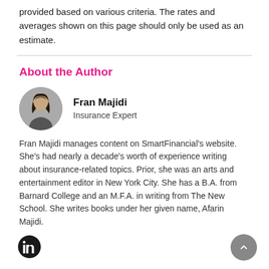provided based on various criteria. The rates and averages shown on this page should only be used as an estimate.
About the Author
Fran Majidi
Insurance Expert
Fran Majidi manages content on SmartFinancial's website. She's had nearly a decade's worth of experience writing about insurance-related topics. Prior, she was an arts and entertainment editor in New York City. She has a B.A. from Barnard College and an M.F.A. in writing from The New School. She writes books under her given name, Afarin Majidi.